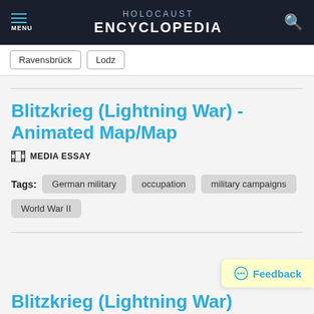HOLOCAUST ENCYCLOPEDIA
Ravensbrück
Lodz
Blitzkrieg (Lightning War) - Animated Map/Map
MEDIA ESSAY
Tags: German military  occupation  military campaigns  World War II
Blitzkrieg (Lightning War)